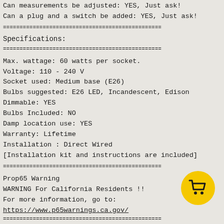Can measurements be adjusted: YES, Just ask!
Can a plug and a switch be added: YES, Just ask!
================================================
Specifications:
================================================
Max. wattage: 60 watts per socket.
Voltage: 110 - 240 V
Socket used: Medium base (E26)
Bulbs suggested: E26 LED, Incandescent, Edison
Dimmable: YES
Bulbs Included: NO
Damp location use: YES
Warranty: Lifetime
Installation : Direct Wired
[Installation kit and instructions are included]
================================================
Prop65 Warning
WARNING For California Residents !!
For more information, go to:
https://www.p65warnings.ca.gov/
================================================